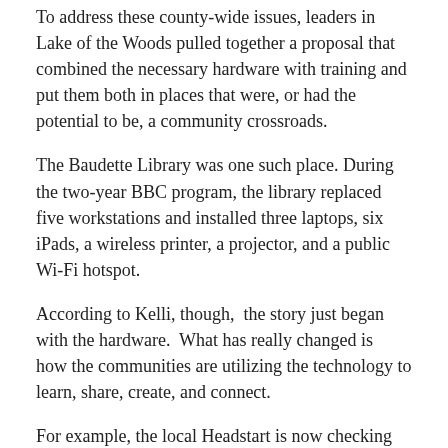To address these county-wide issues, leaders in Lake of the Woods pulled together a proposal that combined the necessary hardware with training and put them both in places that were, or had the potential to be, a community crossroads.
The Baudette Library was one such place. During the two-year BBC program, the library replaced five workstations and installed three laptops, six iPads, a wireless printer, a projector, and a public Wi-Fi hotspot.
According to Kelli, though,  the story just began with the hardware.  What has really changed is  how the communities are utilizing the technology to learn, share, create, and connect.
For example, the local Headstart is now checking out iPads on a routine basis and integrating them into their curriculum. Kids now are learning their alphabet and numbers through quality programs only available via iPad.